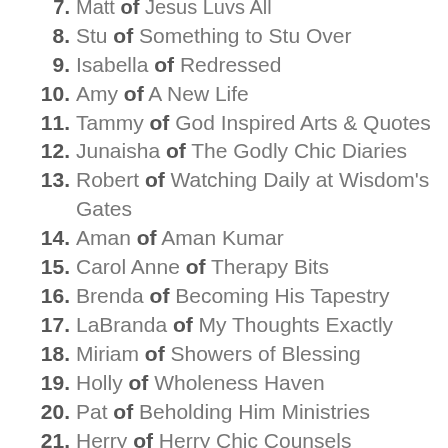7. Matt of Jesus Luvs All
8. Stu of Something to Stu Over
9. Isabella of Redressed
10. Amy of A New Life
11. Tammy of God Inspired Arts & Quotes
12. Junaisha of The Godly Chic Diaries
13. Robert of Watching Daily at Wisdom's Gates
14. Aman of Aman Kumar
15. Carol Anne of Therapy Bits
16. Brenda of Becoming His Tapestry
17. LaBranda of My Thoughts Exactly
18. Miriam of Showers of Blessing
19. Holly of Wholeness Haven
20. Pat of Beholding Him Ministries
21. Herry of Herry Chic Counsels
22. Eliots of Rebel Fisherman Referrals